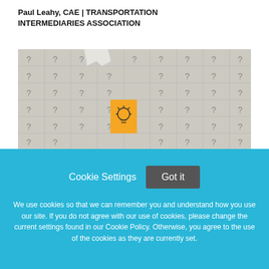Paul Leahy, CAE | TRANSPORTATION INTERMEDIARIES ASSOCIATION
[Figure (photo): Puzzle pieces with question marks, one golden piece in the center featuring a light bulb icon]
Cookie Settings   Got it
We use cookies so that we can remember you and understand how you use our site. If you do not agree with our use of cookies, please change the current settings found in our Cookie Policy. Otherwise, you agree to the use of the cookies as they are currently set.